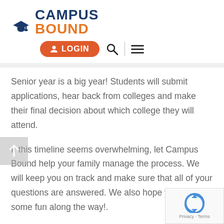[Figure (logo): Campus Bound logo with graduation cap icon, 'CAMPUS' in dark blue and 'BOUND' in orange]
[Figure (screenshot): Navigation bar with orange LOGIN button, search icon, vertical divider, and hamburger menu icon]
Senior year is a big year! Students will submit applications, hear back from colleges and make their final decision about which college they will attend.
If this timeline seems overwhelming, let Campus Bound help your family manage the process. We will keep you on track and make sure that all of your questions are answered. We also hope you have some fun along the way!.